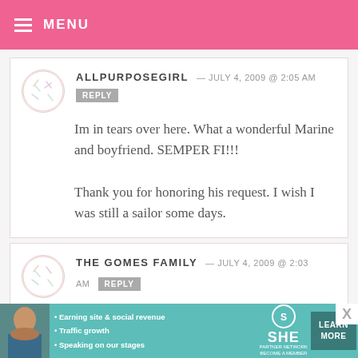MENU
ALLPURPOSEGIRL — JULY 4, 2009 @ 2:05 AM
Im in tears over here. What a wonderful Marine and boyfriend. SEMPER FI!!!

Thank you for honoring his request. I wish I was still a sailor some days.
THE GOMES FAMILY — JULY 4, 2009 @ 2:03 AM
[Figure (infographic): SHE Partner Network advertisement banner with photo of woman, bullet points about earning site and social revenue, traffic growth, speaking on stages, and a Learn More button]